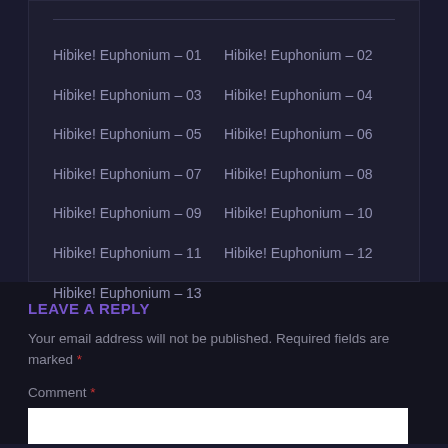Hibike! Euphonium – 01
Hibike! Euphonium – 02
Hibike! Euphonium – 03
Hibike! Euphonium – 04
Hibike! Euphonium – 05
Hibike! Euphonium – 06
Hibike! Euphonium – 07
Hibike! Euphonium – 08
Hibike! Euphonium – 09
Hibike! Euphonium – 10
Hibike! Euphonium – 11
Hibike! Euphonium – 12
Hibike! Euphonium – 13
LEAVE A REPLY
Your email address will not be published. Required fields are marked *
Comment *